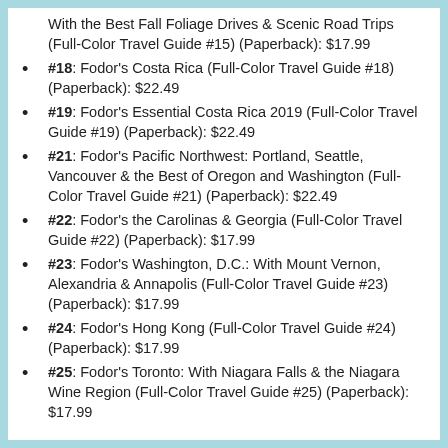With the Best Fall Foliage Drives & Scenic Road Trips (Full-Color Travel Guide #15) (Paperback): $17.99
#18: Fodor's Costa Rica (Full-Color Travel Guide #18) (Paperback): $22.49
#19: Fodor's Essential Costa Rica 2019 (Full-Color Travel Guide #19) (Paperback): $22.49
#21: Fodor's Pacific Northwest: Portland, Seattle, Vancouver & the Best of Oregon and Washington (Full-Color Travel Guide #21) (Paperback): $22.49
#22: Fodor's the Carolinas & Georgia (Full-Color Travel Guide #22) (Paperback): $17.99
#23: Fodor's Washington, D.C.: With Mount Vernon, Alexandria & Annapolis (Full-Color Travel Guide #23) (Paperback): $17.99
#24: Fodor's Hong Kong (Full-Color Travel Guide #24) (Paperback): $17.99
#25: Fodor's Toronto: With Niagara Falls & the Niagara Wine Region (Full-Color Travel Guide #25) (Paperback): $17.99